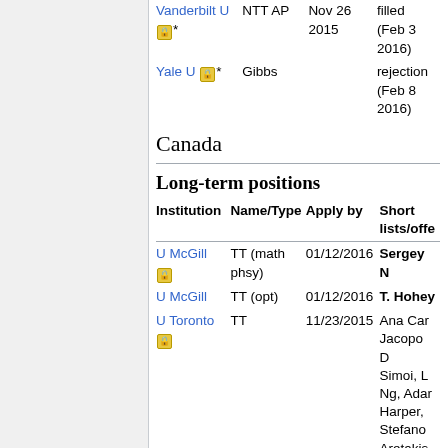| Institution | Name/Type | Apply by | Short lists/offe... |
| --- | --- | --- | --- |
| Vanderbilt U 🔒* | NTT AP | Nov 26 2015 | filled (Feb 3 2016) |
| Yale U 🔒* | Gibbs |  | rejection (Feb 8 2016) |
Canada
Long-term positions
| Institution | Name/Type | Apply by | Short lists/offe... |
| --- | --- | --- | --- |
| U McGill 🔒 | TT (math phsy) | 01/12/2016 | Sergey N... |
| U McGill | TT (opt) | 01/12/2016 | T. Hohey... |
| U Toronto 🔒 | TT | 11/23/2015 | Ana Car..., Jacopo D..., Simoi, L..., Ng, Adam..., Harper,..., Stefano..., Aretakis,..., Milivoje N... |